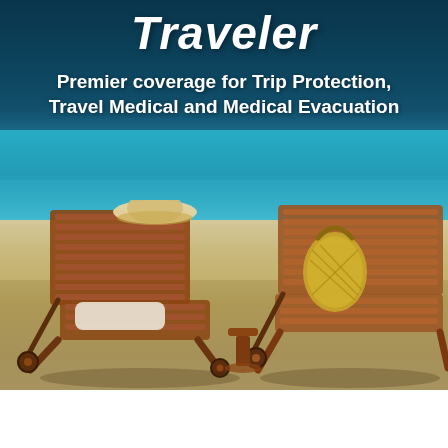Traveler
Premier coverage for Trip Protection, Travel Medical and Medical Evacuation
[Figure (photo): Two wooden beach lounge chairs facing a turquoise ocean and white sandy beach, with a straw hat on the left chair and a woven bag on the right chair]